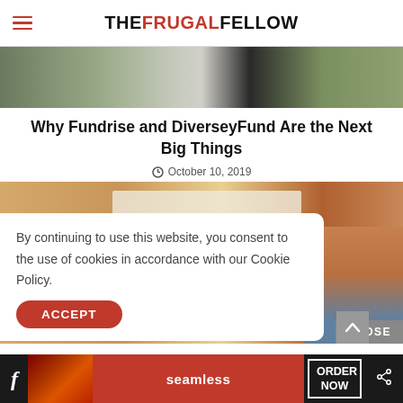THE FRUGAL FELLOW
[Figure (photo): Top hero image showing a black and white cat or animal on grass]
Why Fundrise and DiverseyFund Are the Next Big Things
October 10, 2019
[Figure (photo): Photo of hands with documents on a wooden table, partially covered by a cookie consent overlay]
By continuing to use this website, you consent to the use of cookies in accordance with our Cookie Policy.
ACCEPT
CLOSE
[Figure (screenshot): Bottom advertisement bar with Facebook icon, Seamless pizza ad with ORDER NOW button, and share icon]